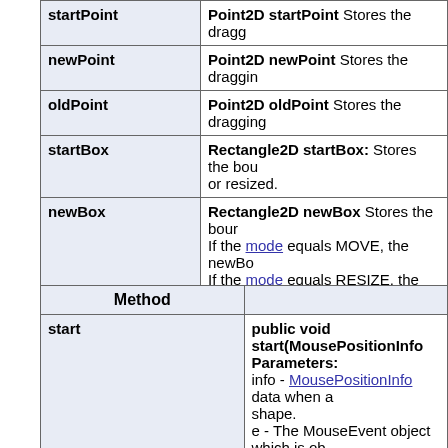| Field | Description |
| --- | --- |
| startPoint | Point2D startPoint – Stores the dragg… |
| newPoint | Point2D newPoint – Stores the dragging… |
| oldPoint | Point2D oldPoint – Stores the dragging… |
| startBox | Rectangle2D startBox: Stores the bou… or resized. |
| newBox | Rectangle2D newBox – Stores the boun… If the mode equals MOVE, the newBo… If the mode equals RESIZE, the newB… |
| oldBox | Rectangle2D oldBox: Stores the newB… |
| workVector | Vector workVector
This is the Vector object used for some… |
| Method | Description |
| --- | --- |
| start | public void start(MousePositionInfo…
Parameters:
info - MousePositionInfo data when a… shape.
e - The MouseEvent object which is ob… |